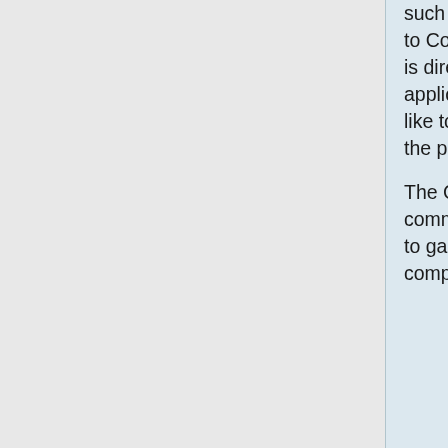such resources through an application to Compute Canada. This info session is directed at novices to such an application, as well as those who would like to be informed about changes in the procedure.
The Centre for Advanced Computing is committed to help Queen's researchers to gain the access to large-scale computational
and Technics Computing annual educational event for students, pos docs and researchers the areas of computationa science. Join organized by SHARCNET (Ontario-Wes SciNet (Ontario-Central) and Centre for Advanced Computing (Ontario-Eas